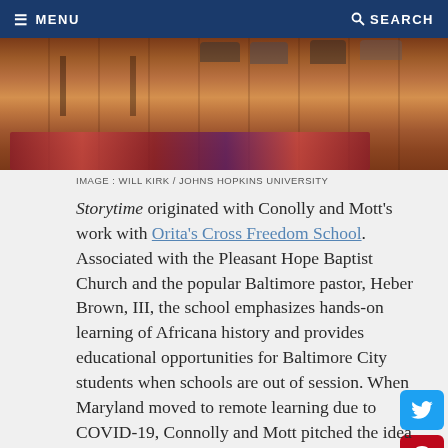MENU   SEARCH
[Figure (photo): Partial photo of a room with a wooden floor and a colorful rug, feet of people sitting visible at the top]
IMAGE : WILL KIRK / JOHNS HOPKINS UNIVERSITY
Storytime originated with Conolly and Mott's work with Orita's Cross Freedom School. Associated with the Pleasant Hope Baptist Church and the popular Baltimore pastor, Heber Brown, III, the school emphasizes hands-on learning of Africana history and provides educational opportunities for Baltimore City students when schools are out of session. When Maryland moved to remote learning due to COVID-19, Connolly and Mott pitched the idea for the series to Pastor Brown as something that could help keep kids entertained and educated during their time at home. He loved it, and they were off.